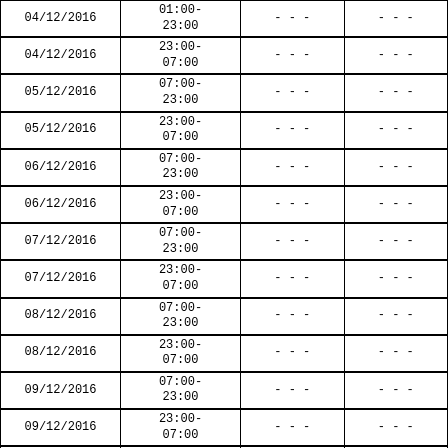| Date | Time | Col3 | Col4 |
| --- | --- | --- | --- |
| 04/12/2016 | 01:00-
23:00 | --- | --- |
| 04/12/2016 | 23:00-
07:00 | --- | --- |
| 05/12/2016 | 07:00-
23:00 | --- | --- |
| 05/12/2016 | 23:00-
07:00 | --- | --- |
| 06/12/2016 | 07:00-
23:00 | --- | --- |
| 06/12/2016 | 23:00-
07:00 | --- | --- |
| 07/12/2016 | 07:00-
23:00 | --- | --- |
| 07/12/2016 | 23:00-
07:00 | --- | --- |
| 08/12/2016 | 07:00-
23:00 | --- | --- |
| 08/12/2016 | 23:00-
07:00 | --- | --- |
| 09/12/2016 | 07:00-
23:00 | --- | --- |
| 09/12/2016 | 23:00-
07:00 | --- | --- |
| 10/12/2016 | 07:00-
23:00 | --- | --- |
| 10/12/2016 | 23:00-
07:00 | --- | --- |
| 11/12/2016 | 07:00-
23:00 | --- | --- |